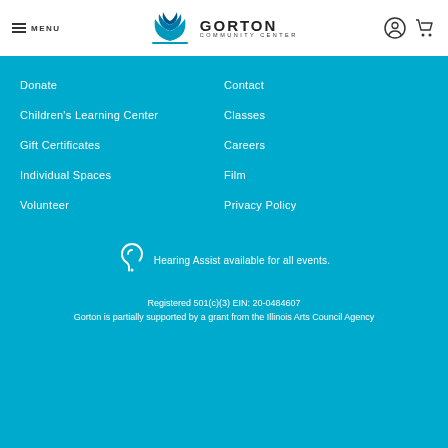[Figure (logo): Gorton Community Center logo with stylized arch/fan icon and text GORTON COMMUNITY CENTER]
Donate
Contact
Children's Learning Center
Classes
Gift Certificates
Careers
Individual Spaces
Film
Volunteer
Privacy Policy
Hearing Assist available for all events.
Registered 501(c)(3) EIN: 20-0484607
Gorton is partially supported by a grant from the Illinois Arts Council Agency